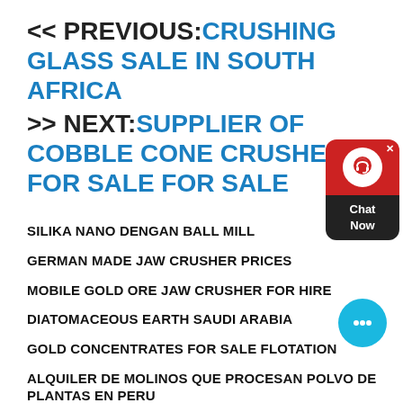<< PREVIOUS:CRUSHING GLASS SALE IN SOUTH AFRICA
>> NEXT:SUPPLIER OF COBBLE CONE CRUSHER FOR SALE FOR SALE
SILIKA NANO DENGAN BALL MILL
GERMAN MADE JAW CRUSHER PRICES
MOBILE GOLD ORE JAW CRUSHER FOR HIRE
DIATOMACEOUS EARTH SAUDI ARABIA
GOLD CONCENTRATES FOR SALE FLOTATION
ALQUILER DE MOLINOS QUE PROCESAN POLVO DE PLANTAS EN PERU